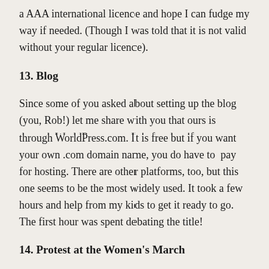a AAA international licence and hope I can fudge my way if needed. (Though I was told that it is not valid without your regular licence).
13. Blog
Since some of you asked about setting up the blog (you, Rob!) let me share with you that ours is through WorldPress.com. It is free but if you want your own .com domain name, you do have to  pay for hosting. There are other platforms, too, but this one seems to be the most widely used. It took a few hours and help from my kids to get it ready to go. The first hour was spent debating the title!
14. Protest at the Women's March
As a last act of civil discourse we enthusiastically participated in the anniversay Women's March in San Francisco.